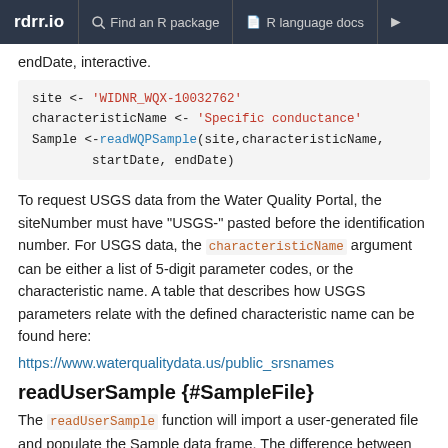rdrr.io   Find an R package   R language docs
endDate, interactive.
To request USGS data from the Water Quality Portal, the siteNumber must have "USGS-" pasted before the identification number. For USGS data, the characteristicName argument can be either a list of 5-digit parameter codes, or the characteristic name. A table that describes how USGS parameters relate with the defined characteristic name can be found here:
https://www.waterqualitydata.us/public_srsnames
readUserSample {#SampleFile}
The readUserSample function will import a user-generated file and populate the Sample data frame. The difference between sample data and discharge data is that the code requires a third